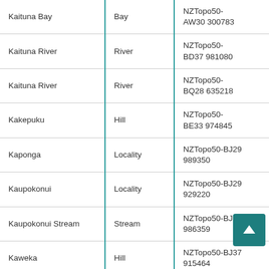| Name | Type | Map Reference |
| --- | --- | --- |
| Kaituna Bay | Bay | NZTopo50-AW30 300783 |
| Kaituna River | River | NZTopo50-BD37 981080 |
| Kaituna River | River | NZTopo50-BQ28 635218 |
| Kakepuku | Hill | NZTopo50-BE33 974845 |
| Kaponga | Locality | NZTopo50-BJ29 989350 |
| Kaupokonui | Locality | NZTopo50-BJ29 929220 |
| Kaupokonui Stream | Stream | NZTopo50-BJ29 986359 |
| Kaweka | Hill | NZTopo50-BJ37 915464 |
| Kaweka Flats | Flat | NZTopo50-BJ37 955489 |